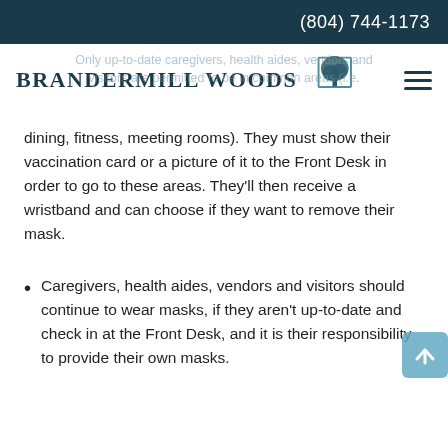(804) 744-1173
[Figure (logo): Brandermill Woods logo with tree illustration and organization name]
Only up-to-date caregivers, health aides, vendors and visitors are permitted to be in common areas (i.e. dining, fitness, meeting rooms). They must show their vaccination card or a picture of it to the Front Desk in order to go to these areas. They'll then receive a wristband and can choose if they want to remove their mask.
Caregivers, health aides, vendors and visitors should continue to wear masks, if they aren't up-to-date and check in at the Front Desk, and it is their responsibility to provide their own masks.